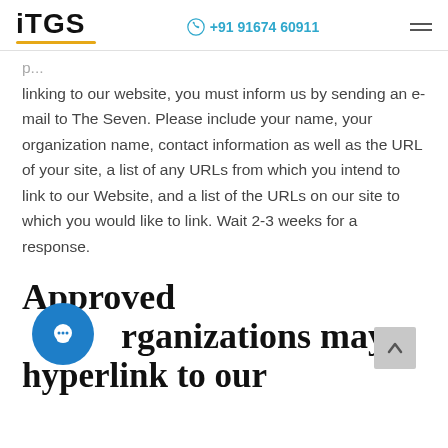iTGS | +91 91674 60911
linking to our website, you must inform us by sending an e-mail to The Seven. Please include your name, your organization name, contact information as well as the URL of your site, a list of any URLs from which you intend to link to our Website, and a list of the URLs on our site to which you would like to link. Wait 2-3 weeks for a response.
Approved Organizations may hyperlink to our